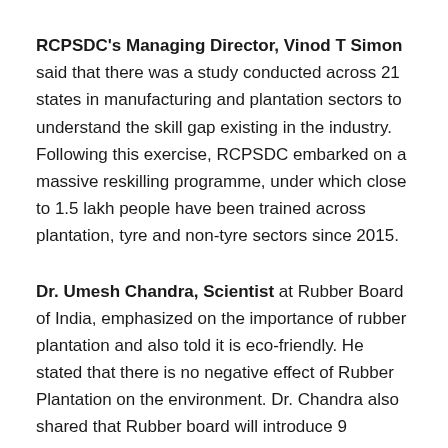RCPSDC's Managing Director, Vinod T Simon said that there was a study conducted across 21 states in manufacturing and plantation sectors to understand the skill gap existing in the industry. Following this exercise, RCPSDC embarked on a massive reskilling programme, under which close to 1.5 lakh people have been trained across plantation, tyre and non-tyre sectors since 2015.
Dr. Umesh Chandra, Scientist at Rubber Board of India, emphasized on the importance of rubber plantation and also told it is eco-friendly. He stated that there is no negative effect of Rubber Plantation on the environment. Dr. Chandra also shared that Rubber board will introduce 9 Growers producers centre under the Chief Minister Samagra Unnayan Yojna, cost of 3.82 cr.